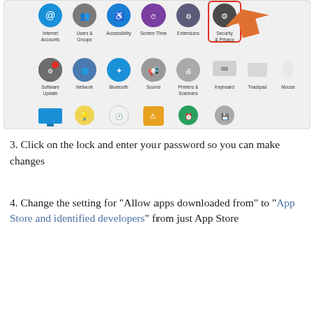[Figure (screenshot): macOS System Preferences window showing icons for Internet Accounts, Users & Groups, Accessibility, Screen Time, Extensions, Security & Privacy (highlighted with red border and orange arrow), Software Update, Network, Bluetooth, Sound, Printers & Scanners, Keyboard, Trackpad, Mouse, Displays, Energy Saver, Date & Time, Sharing, Time Machine, Startup Disk]
3. Click on the lock and enter your password so you can make changes
4. Change the setting for “Allow apps downloaded from” to “App Store and identified developers” from just App Store